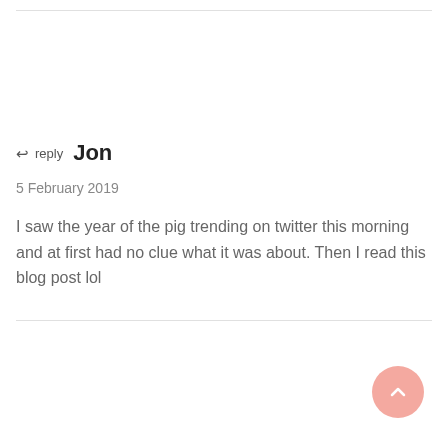↩ reply   Jon
5 February 2019
I saw the year of the pig trending on twitter this morning and at first had no clue what it was about. Then I read this blog post lol
[Figure (other): Salmon/pink circular scroll-to-top button with upward chevron arrow icon]